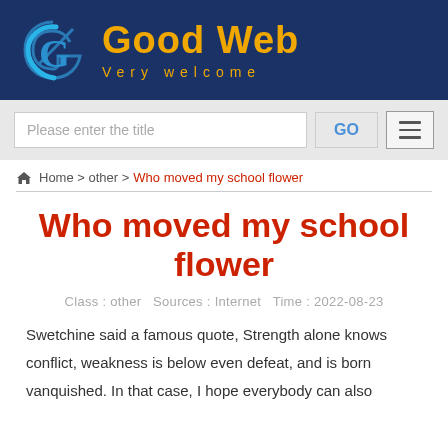[Figure (logo): Good Web website header with blue background, stylized G logo in blue and white, orange bold text 'Good Web', and orange spaced subtitle 'Very welcome']
[Figure (screenshot): Search bar area with text input 'Please enter the title', GO button, and hamburger menu icon on grey background]
Home > other > Who moved my school flower
Who moved my school flower
Class : other   Sources : Internet   Time : 2022-08-23
Swetchine said a famous quote, Strength alone knows conflict, weakness is below even defeat, and is born vanquished. In that case, I hope everybody can also